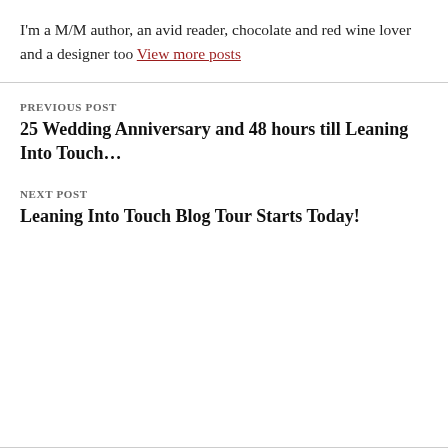I'm a M/M author, an avid reader, chocolate and red wine lover and a designer too View more posts
PREVIOUS POST
25 Wedding Anniversary and 48 hours till Leaning Into Touch…
NEXT POST
Leaning Into Touch Blog Tour Starts Today!